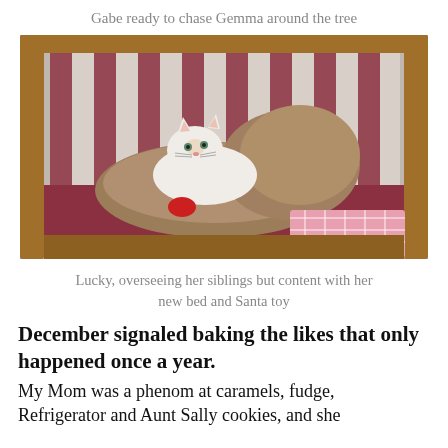Gabe ready to chase Gemma around the tree
[Figure (photo): A white and orange cat resting in a round fluffy brown pet bed inside a wooden crib with red and white striped fabric walls. A red Santa toy is nearby and a pink plaid blanket is in the corner.]
Lucky, overseeing her siblings but content with her new bed and Santa toy
December signaled baking the likes that only happened once a year.
My Mom was a phenom at caramels, fudge, Refrigerator and Aunt Sally cookies, and she